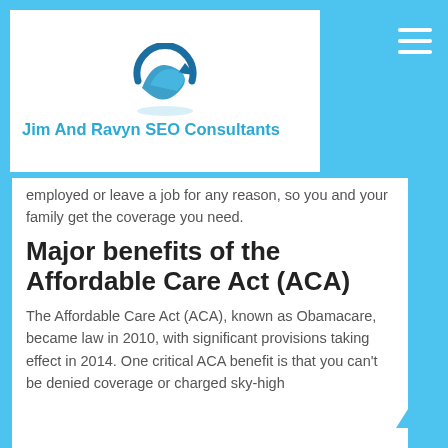Jim And Ravyn SEO Consultants
employed or leave a job for any reason, so you and your family get the coverage you need.
Major benefits of the Affordable Care Act (ACA)
The Affordable Care Act (ACA), known as Obamacare, became law in 2010, with significant provisions taking effect in 2014. One critical ACA benefit is that you can't be denied coverage or charged sky-high